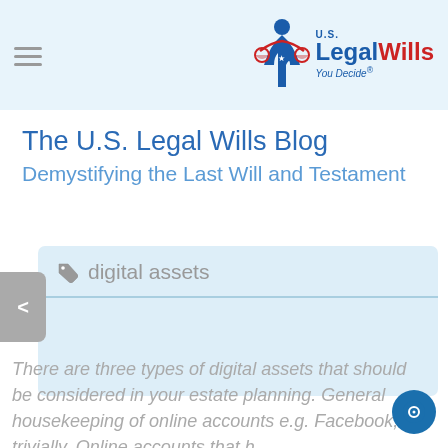U.S. LegalWills — You Decide®
The U.S. Legal Wills Blog
Demystifying the Last Will and Testament
digital assets
There are three types of digital assets that should be considered in your estate planning. General housekeeping of online accounts e.g. Facebook, trivially. Online accounts that h...